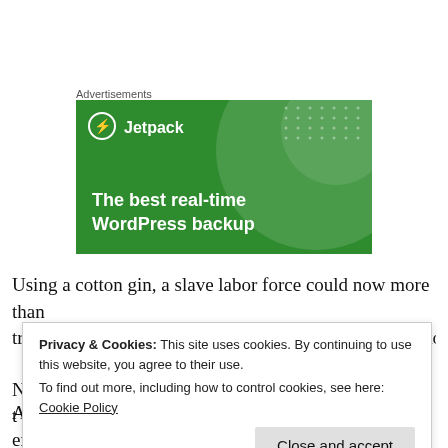Advertisements
[Figure (illustration): Jetpack advertisement banner with green background showing 'The best real-time WordPress backup' text and Jetpack logo]
Using a cotton gin, a slave labor force could now more than triple its output of cleaned cotton, and the South came to…
Privacy & Cookies: This site uses cookies. By continuing to use this website, you agree to their use. To find out more, including how to control cookies, see here: Cookie Policy
As the cotton economy grew, so too did the need for enslaved